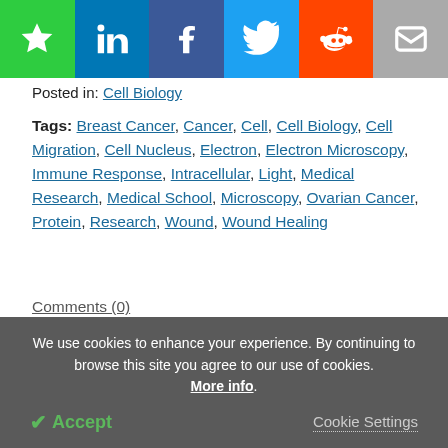[Figure (other): Social sharing bar with bookmark (green), LinkedIn (blue), Facebook (dark blue), Twitter (light blue), Reddit (orange), and email (gray) buttons]
Posted in: Cell Biology
Tags: Breast Cancer, Cancer, Cell, Cell Biology, Cell Migration, Cell Nucleus, Electron, Electron Microscopy, Immune Response, Intracellular, Light, Medical Research, Medical School, Microscopy, Ovarian Cancer, Protein, Research, Wound, Wound Healing
Comments (0)
Download PDF Copy
We use cookies to enhance your experience. By continuing to browse this site you agree to our use of cookies. More info.
✔ Accept
Cookie Settings